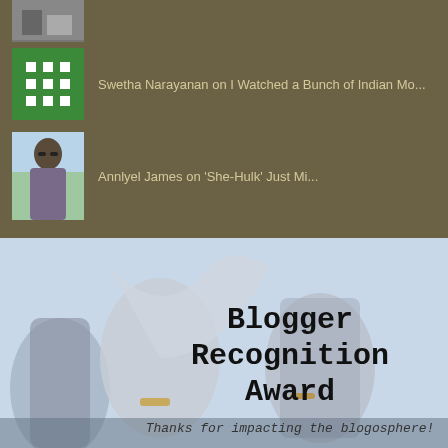[Figure (photo): Partial avatar photo at top, cropped]
Swetha Narayanan on I Watched a Bunch of Indian Mo...
[Figure (illustration): Green grid icon avatar for Swetha Narayanan]
Annlyel James on 'She-Hulk' Just Mi...
[Figure (photo): Profile photo of Annlyel James, person with sunglasses outdoors]
MY AWARDS
[Figure (photo): Blogger Recognition Award image showing trophies with text: Blogger Recognition Award - Thanks for impacting the blogosphere!]